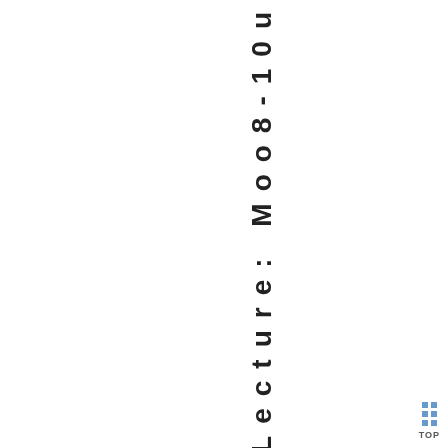s exercises. Lecture: Moo8-10u
[Figure (other): Navigation TOP button with blue square dots grid]